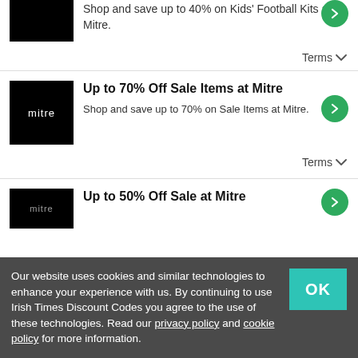[Figure (logo): Mitre brand logo, black background, partial crop at top]
Shop and save up to 40% on Kids' Football Kits at Mitre.
Terms ∨
[Figure (logo): Mitre brand logo, black background with white mitre text]
Up to 70% Off Sale Items at Mitre
Shop and save up to 70% on Sale Items at Mitre.
Terms ∨
[Figure (logo): Mitre brand logo, black background, partial crop at bottom]
Up to 50% Off Sale at Mitre
Our website uses cookies and similar technologies to enhance your experience with us. By continuing to use Irish Times Discount Codes you agree to the use of these technologies. Read our privacy policy and cookie policy for more information.